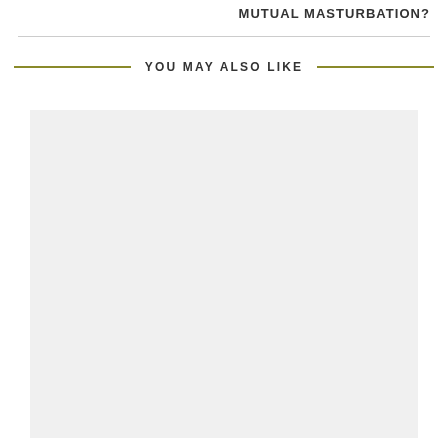MUTUAL MASTURBATION?
YOU MAY ALSO LIKE
[Figure (photo): Large light gray image placeholder rectangle]